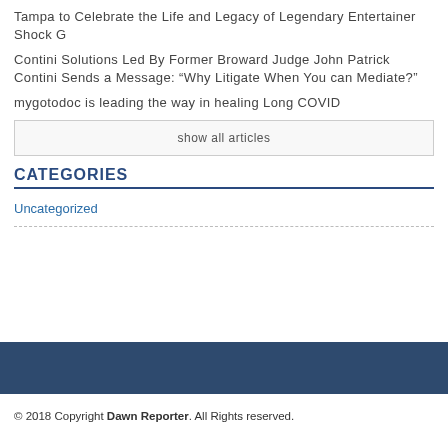Tampa to Celebrate the Life and Legacy of Legendary Entertainer Shock G
Contini Solutions Led By Former Broward Judge John Patrick Contini Sends a Message: “Why Litigate When You can Mediate?”
mygotodoc is leading the way in healing Long COVID
show all articles
CATEGORIES
Uncategorized
© 2018 Copyright Dawn Reporter. All Rights reserved.